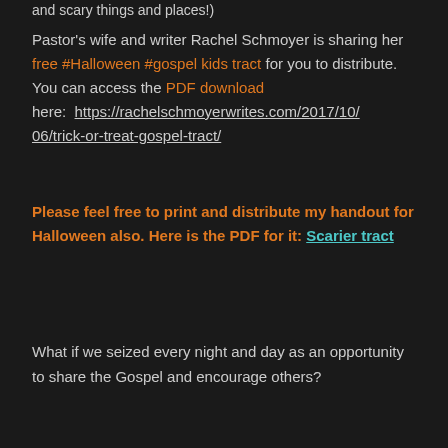and scary things and places!
Pastor's wife and writer Rachel Schmoyer is sharing her free #Halloween #gospel kids tract for you to distribute. You can access the PDF download here:  https://rachelschmoyerwrites.com/2017/10/06/trick-or-treat-gospel-tract/
Please feel free to print and distribute my handout for Halloween also. Here is the PDF for it: Scarier tract
What if we seized every night and day as an opportunity to share the Gospel and encourage others?